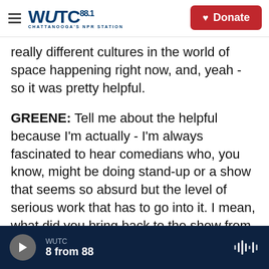WUTC 88.1 Chattanooga's NPR Station | Donate
really different cultures in the world of space happening right now, and, yeah - so it was pretty helpful.
GREENE: Tell me about the helpful because I'm actually - I'm always fascinated to hear comedians who, you know, might be doing stand-up or a show that seems so absurd but the level of serious work that has to go into it. I mean, what did you bring back to the show from doing that kind of research?
HEIDECKER: You know, one thing that really struck me, and I was - at JPL, you know, I kind of asked,
WUTC | 8 from 88